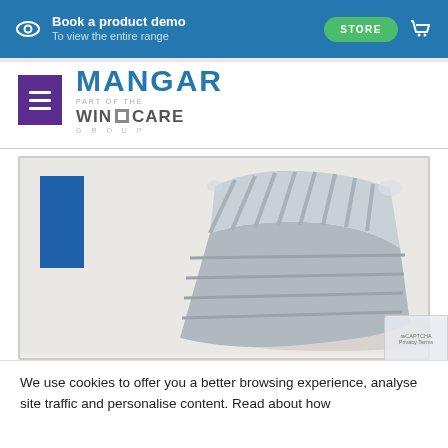Book a product demo — To view the entire range | STORE
[Figure (logo): Mangar logo — part of the Wincare Group, with purple hamburger menu icon]
[Figure (photo): Inflatable lifting cushion product (silver/grey inflatable mattress folded at an angle) on a light grey background, with a blue rectangular accent block on the left side]
We use cookies to offer you a better browsing experience, analyse site traffic and personalise content. Read about how